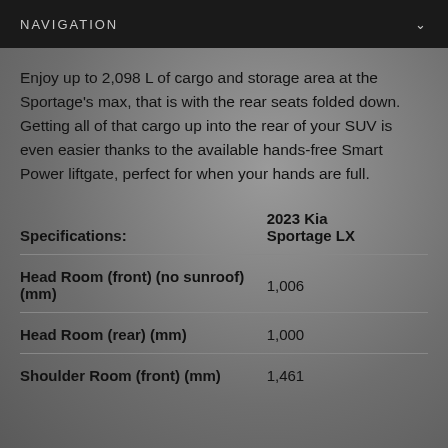NAVIGATION
Enjoy up to 2,098 L of cargo and storage area at the Sportage's max, that is with the rear seats folded down. Getting all of that cargo up into the rear of your SUV is even easier thanks to the available hands-free Smart Power liftgate, perfect for when your hands are full.
| Specifications: | 2023 Kia Sportage LX |
| --- | --- |
| Head Room (front) (no sunroof) (mm) | 1,006 |
| Head Room (rear) (mm) | 1,000 |
| Shoulder Room (front) (mm) | 1,461 |